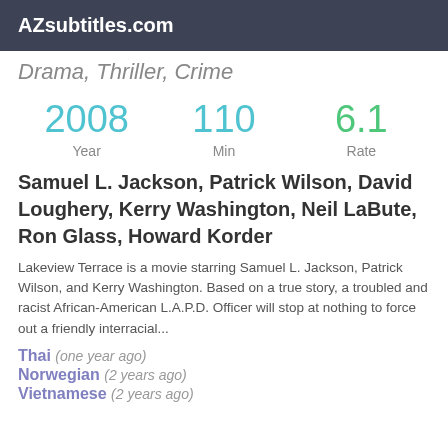AZsubtitles.com
Drama, Thriller, Crime
2008
Year
110
Min
6.1
Rate
Samuel L. Jackson, Patrick Wilson, David Loughery, Kerry Washington, Neil LaBute, Ron Glass, Howard Korder
Lakeview Terrace is a movie starring Samuel L. Jackson, Patrick Wilson, and Kerry Washington. Based on a true story, a troubled and racist African-American L.A.P.D. Officer will stop at nothing to force out a friendly interracial...
Thai (one year ago)
Norwegian (2 years ago)
Vietnamese (2 years ago)